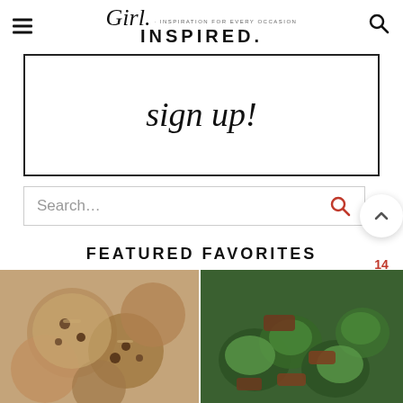Girl Inspired. · INSPIRATION FOR EVERY OCCASION
[Figure (screenshot): Sign up script text in a bordered box]
[Figure (screenshot): Search bar with red search icon]
FEATURED FAVORITES
[Figure (photo): Close-up photo of chocolate chip cookies]
[Figure (photo): Close-up photo of beef and broccoli stir fry]
[Figure (photo): Partially visible food photo bottom left, faded]
[Figure (photo): Partially visible food photo bottom right, faded]